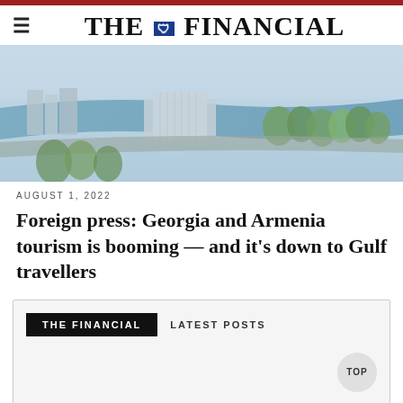THE FINANCIAL
[Figure (photo): Aerial view of a city with a river, modern buildings, roads and trees, likely Tbilisi, Georgia]
AUGUST 1, 2022
Foreign press: Georgia and Armenia tourism is booming — and it's down to Gulf travellers
THE FINANCIAL   LATEST POSTS
TOP